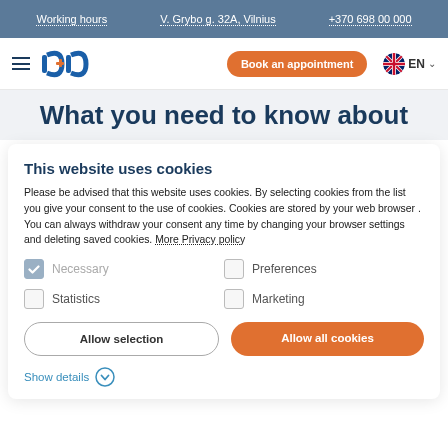Working hours | V. Grybo g. 32A, Vilnius | +370 698 00 000
[Figure (screenshot): Navigation bar with hamburger menu, logo, Book an appointment orange button, UK flag EN language selector]
What you need to know about
This website uses cookies
Please be advised that this website uses cookies. By selecting cookies from the list you give your consent to the use of cookies. Cookies are stored by your web browser . You can always withdraw your consent any time by changing your browser settings and deleting saved cookies. More Privacy policy
Necessary (checked)
Preferences
Statistics
Marketing
Allow selection | Allow all cookies
Show details